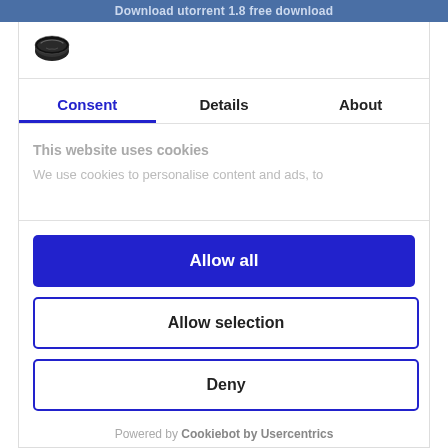Download utorrent 1.8  free download
[Figure (logo): Cookiebot logo icon - black oval cookie shape]
Consent | Details | About
This website uses cookies
We use cookies to personalise content and ads, to
Allow all
Allow selection
Deny
Powered by Cookiebot by Usercentrics